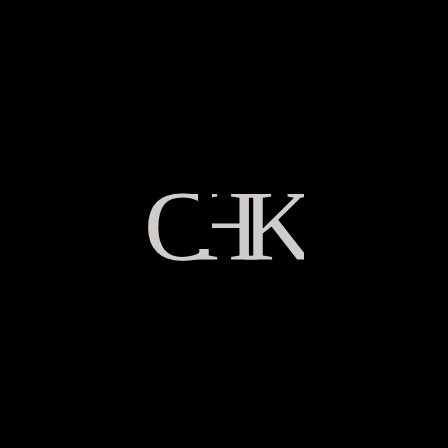[Figure (logo): A monogram logo consisting of intertwined letters C, H, and K in white/light gray serif typography on a black background. The letters overlap in a stylized fashion forming a compact ligature mark.]